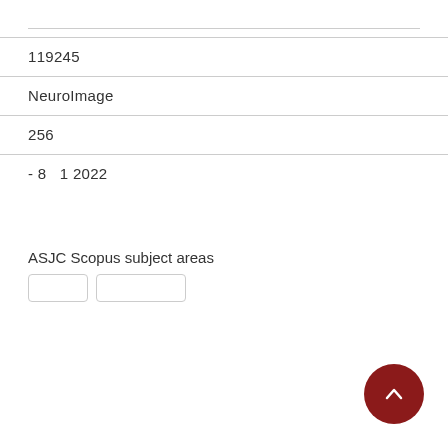119245
NeuroImage
256
- 8  1 2022
ASJC Scopus subject areas